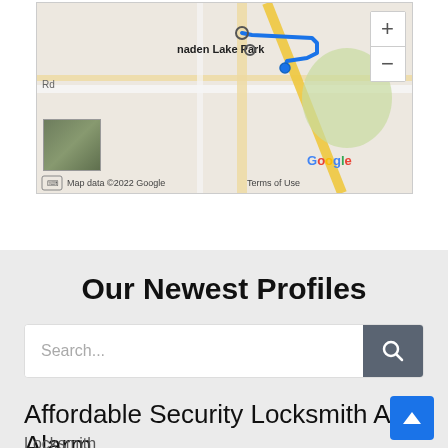[Figure (map): Google Maps screenshot showing a route with a blue line near 'naden Lake Park', with zoom controls (+/-), a satellite thumbnail preview in the lower left, and map attribution 'Map data ©2022 Google  Terms of Use' at the bottom.]
Our Newest Profiles
Search...
Affordable Security Locksmith And Alarm
Locksmith